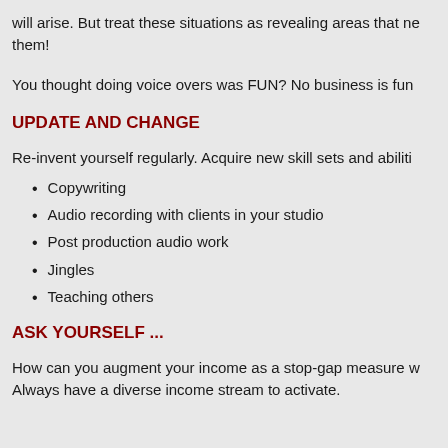will arise. But treat these situations as revealing areas that need attention. Address them!
You thought doing voice overs was FUN? No business is fun all the time.
UPDATE AND CHANGE
Re-invent yourself regularly. Acquire new skill sets and abilities:
Copywriting
Audio recording with clients in your studio
Post production audio work
Jingles
Teaching others
ASK YOURSELF ...
How can you augment your income as a stop-gap measure when work slows? Always have a diverse income stream to activate.